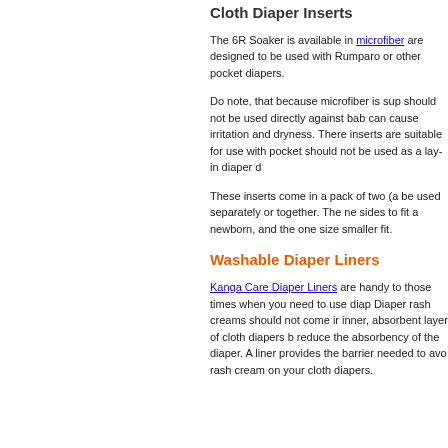Cloth Diaper Inserts
The 6R Soaker is available in microfiber are designed to be used with Rumparo or other pocket diapers.
Do note, that because microfiber is sup should not be used directly against bab can cause irritation and dryness. There inserts are suitable for use with pocket should not be used as a lay-in diaper d
These inserts come in a pack of two (a be used separately or together. The ne sides to fit a newborn, and the one size smaller fit.
Washable Diaper Liners
Kanga Care Diaper Liners are handy to those times when you need to use diap Diaper rash creams should not come ir inner, absorbent layer of cloth diapers b reduce the absorbency of the diaper. A liner provides the barrier needed to avo rash cream on your cloth diapers.